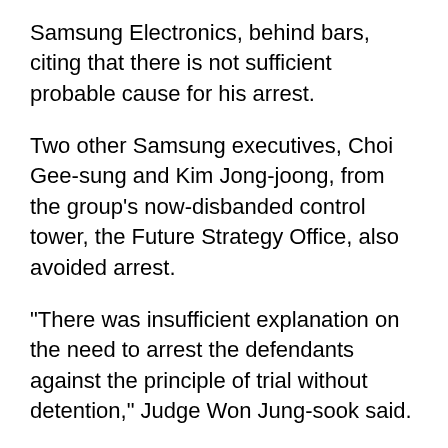Samsung Electronics, behind bars, citing that there is not sufficient probable cause for his arrest.
Two other Samsung executives, Choi Gee-sung and Kim Jong-joong, from the group's now-disbanded control tower, the Future Strategy Office, also avoided arrest.
"There was insufficient explanation on the need to arrest the defendants against the principle of trial without detention," Judge Won Jung-sook said.
"The basic facts (of the case) have been all explained. And prosecutors seem to have already secured considerable amount of evidence through its investigation," she said. "In light of the importance of the case, whether the defendants are responsible, and if so, how much they are, should be